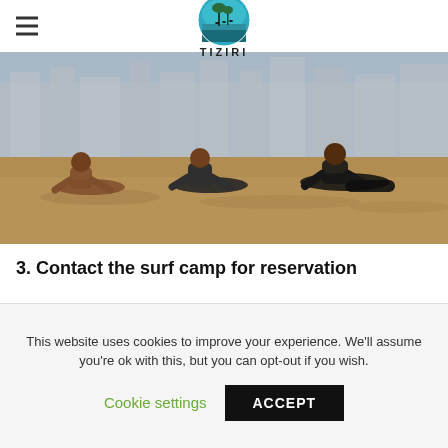TIZIRI (logo)
[Figure (photo): Three people doing yoga/surf warm-up exercises (cobra pose) on a sandy beach, with buildings in the background. One person is shirtless, two are wearing wetsuits.]
3. Contact the surf camp for reservation
When you will purchase your airplane ticket, inform the surf camp of your exact arrival date.
This website uses cookies to improve your experience. We’ll assume you’re ok with this, but you can opt-out if you wish.
Cookie settings  ACCEPT